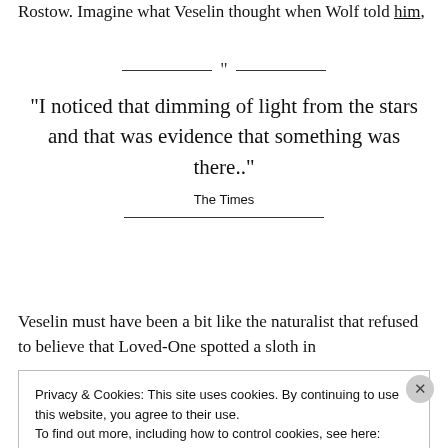Rostow. Imagine what Veselin thought when Wolf told him,
“I noticed that dimming of light from the stars and that was evidence that something was there..”
The Times
Veselin must have been a bit like the naturalist that refused to believe that Loved-One spotted a sloth in
Privacy & Cookies: This site uses cookies. By continuing to use this website, you agree to their use.
To find out more, including how to control cookies, see here: Cookie Policy
Close and accept